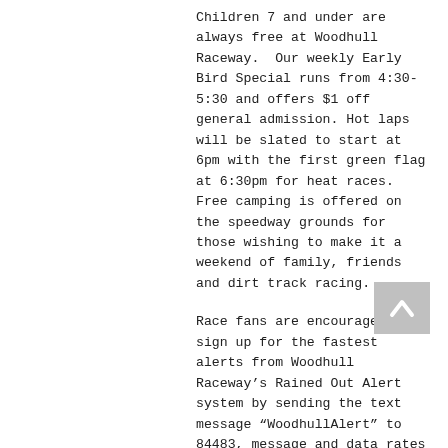Children 7 and under are always free at Woodhull Raceway.  Our weekly Early Bird Special runs from 4:30-5:30 and offers $1 off general admission. Hot laps will be slated to start at 6pm with the first green flag at 6:30pm for heat races.  Free camping is offered on the speedway grounds for those wishing to make it a weekend of family, friends and dirt track racing.
Race fans are encouraged to sign up for the fastest alerts from Woodhull Raceway’s Rained Out Alert system by sending the text message “WoodhullAlert” to 84483, message and data rates may apply.
For more information race over to www.woodhullraceway.com, Like Woodhull Raceway on Facebook at www.facebook.com/WoodhullRaceway or Follow